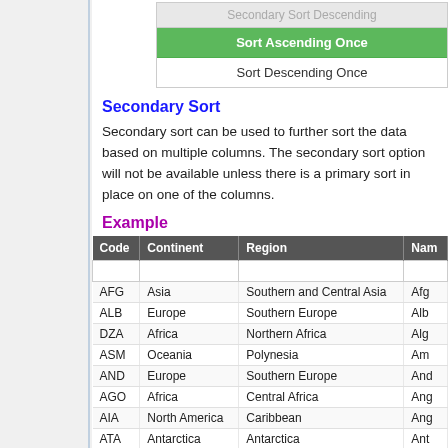[Figure (screenshot): Dropdown menu showing 'Secondary Sort Descending' (grayed), 'Sort Ascending Once' (highlighted green), and 'Sort Descending Once' options]
Secondary Sort
Secondary sort can be used to further sort the data based on multiple columns. The secondary sort option will not be available unless there is a primary sort in place on one of the columns.
Example
| Code | Continent | Region | Nam |
| --- | --- | --- | --- |
| AFG | Asia | Southern and Central Asia | Afg |
| ALB | Europe | Southern Europe | Alb |
| DZA | Africa | Northern Africa | Alg |
| ASM | Oceania | Polynesia | Am |
| AND | Europe | Southern Europe | And |
| AGO | Africa | Central Africa | Ang |
| AIA | North America | Caribbean | Ang |
| ATA | Antarctica | Antarctica | Ant |
| ATG | North America | Caribbean | Ant |
| ARG | South America | South America | Arg |
| ARM | Asia | Middle East | Am |
| ABW | North America | Caribbean | Aru |